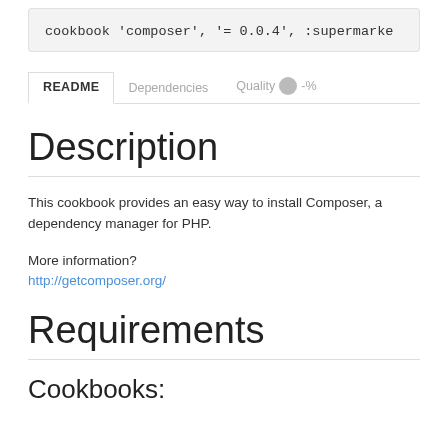[Figure (screenshot): Code block showing: cookbook 'composer', '= 0.0.4', :supermarke]
README | Dependencies | Quality -%%
Description
This cookbook provides an easy way to install Composer, a dependency manager for PHP.
More information?
http://getcomposer.org/
Requirements
Cookbooks: